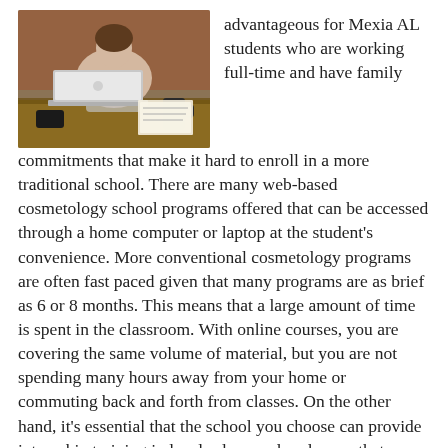[Figure (photo): A woman working on a MacBook laptop at a wooden desk with papers, a black mug, and a smartphone nearby. She appears to be in a casual office or cafe setting with a brick wall in the background.]
advantageous for Mexia AL students who are working full-time and have family commitments that make it hard to enroll in a more traditional school. There are many web-based cosmetology school programs offered that can be accessed through a home computer or laptop at the student's convenience. More conventional cosmetology programs are often fast paced given that many programs are as brief as 6 or 8 months. This means that a large amount of time is spent in the classroom. With online courses, you are covering the same volume of material, but you are not spending many hours away from your home or commuting back and forth from classes. On the other hand, it's essential that the school you choose can provide internship training in local salons and parlors so that you also receive the hands-on training needed for a comprehensive education. Without the internship portion of